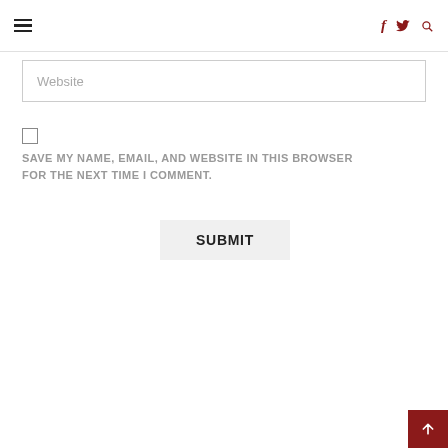☰  f  🐦  🔍
Website
☐
SAVE MY NAME, EMAIL, AND WEBSITE IN THIS BROWSER FOR THE NEXT TIME I COMMENT.
SUBMIT